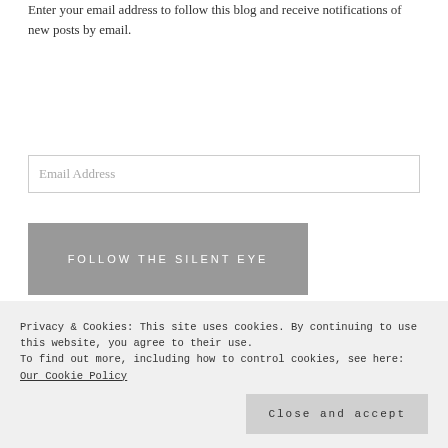Enter your email address to follow this blog and receive notifications of new posts by email.
Email Address
FOLLOW THE SILENT EYE
Join 10,751 other followers
FOLLOW US ON TWITTER
Privacy & Cookies: This site uses cookies. By continuing to use this website, you agree to their use.
To find out more, including how to control cookies, see here: Our Cookie Policy
Close and accept
FIND US ON FACEBOOK